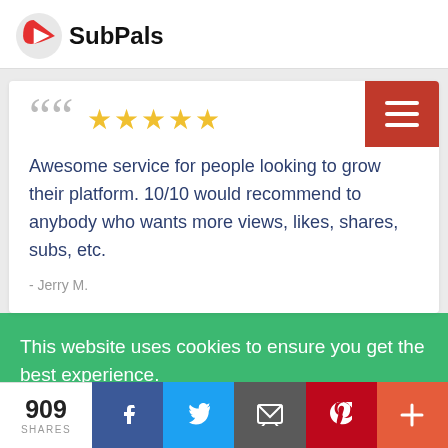SubPals
Awesome service for people looking to grow their platform. 10/10 would recommend to anybody who wants more views, likes, shares, subs, etc.
- Jerry M.
This website uses cookies to ensure you get the best experience.
909 SHARES